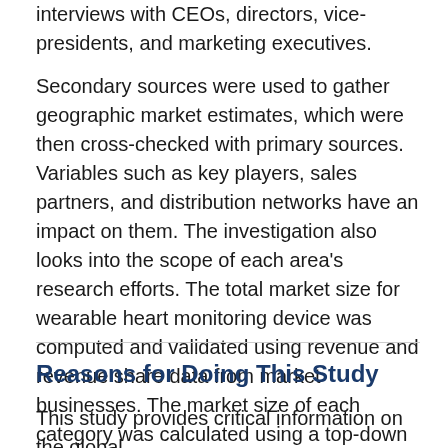interviews with CEOs, directors, vice-presidents, and marketing executives.
Secondary sources were used to gather geographic market estimates, which were then cross-checked with primary sources. Variables such as key players, sales partners, and distribution networks have an impact on them. The investigation also looks into the scope of each area's research efforts. The total market size for wearable heart monitoring device was computed and validated using revenue and revenue share data from market businesses. The market size of each category was calculated using a top-down approach based on the total market size.
Reasons for Doing This Study
This study provides critical information on the global